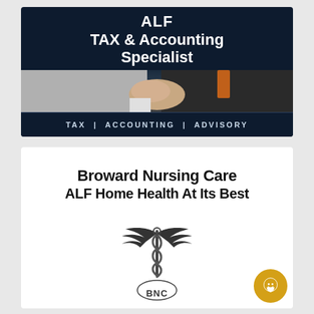[Figure (logo): ALF Tax & Accounting Specialist advertisement banner with dark navy background, handshake photo, and text: ALF | TAX & Accounting Specialist | TAX | ACCOUNTING | ADVISORY]
[Figure (logo): Broward Nursing Care ALF Home Health At Its Best advertisement with BNC caduceus logo on white background]